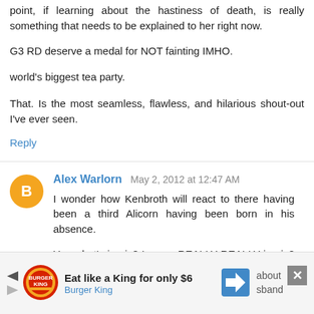point, if learning about the hastiness of death, is really something that needs to be explained to her right now.
G3 RD deserve a medal for NOT fainting IMHO.
world's biggest tea party.
That. Is the most seamless, flawless, and hilarious shout-out I've ever seen.
Reply
Alex Warlorn  May 2, 2012 at 12:47 AM
I wonder how Kenbroth will react to there having been a third Alicorn having been born in his absence.
You what's ironic? I mean REALLY REALLY ironic? Cadence's hair style, is JUST LIKE A G3 PONY!!!!
Nice subversion with Rarity and the curtains.
I shall have to oversee the national budget myself.
[Figure (other): Burger King advertisement banner: Eat like a King for only $6, Burger King, with navigation arrows and close button]